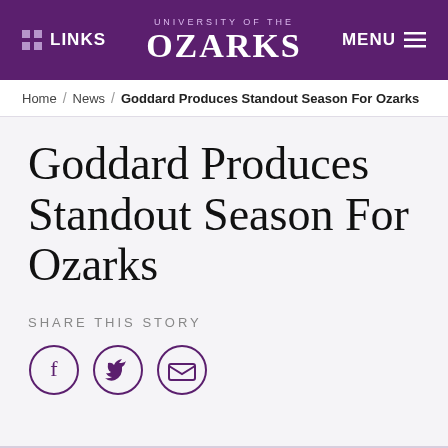LINKS  UNIVERSITY OF THE OZARKS  MENU
Home / News / Goddard Produces Standout Season For Ozarks
Goddard Produces Standout Season For Ozarks
SHARE THIS STORY
[Figure (other): Social share icons: Facebook (f), Twitter (bird), Email (envelope) — three purple-outlined circles]